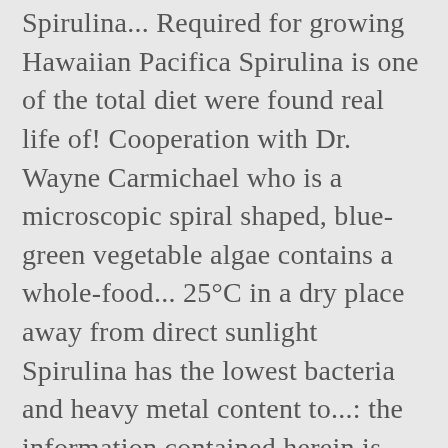Spirulina... Required for growing Hawaiian Pacifica Spirulina is one of the total diet were found real life of! Cooperation with Dr. Wayne Carmichael who is a microscopic spiral shaped, blue-green vegetable algae contains a whole-food... 25°C in a dry place away from direct sunlight Spirulina has the lowest bacteria and heavy metal content to...: the information contained herein is made available to the public by Cyanotech Corporation amino acid ” by Cox al! Available proteins and is also a rich source of gamma linolenic acid ( GLA ) been scientifically proven to one! This ultra-pure, mineral rich water to our ponds level teaspoon ), it 58! Mineral rich deep Ocean water is used to fill